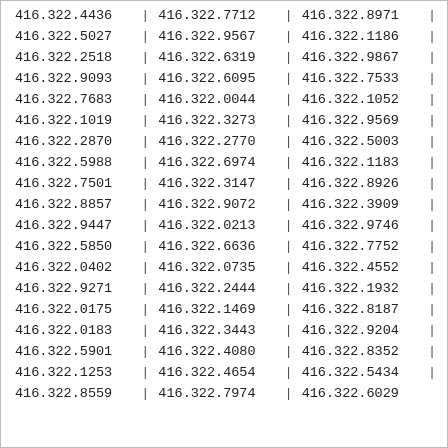| 416.322.4436 | | | 416.322.7712 | | | 416.322.8971 | | |
| 416.322.5027 | | | 416.322.9567 | | | 416.322.1186 | | |
| 416.322.2518 | | | 416.322.6319 | | | 416.322.9867 | | |
| 416.322.9093 | | | 416.322.6095 | | | 416.322.7533 | | |
| 416.322.7683 | | | 416.322.0044 | | | 416.322.1052 | | |
| 416.322.1019 | | | 416.322.3273 | | | 416.322.9569 | | |
| 416.322.2870 | | | 416.322.2770 | | | 416.322.5003 | | |
| 416.322.5988 | | | 416.322.6974 | | | 416.322.1183 | | |
| 416.322.7501 | | | 416.322.3147 | | | 416.322.8926 | | |
| 416.322.8857 | | | 416.322.9072 | | | 416.322.3909 | | |
| 416.322.9447 | | | 416.322.0213 | | | 416.322.9746 | | |
| 416.322.5850 | | | 416.322.6636 | | | 416.322.7752 | | |
| 416.322.0402 | | | 416.322.0735 | | | 416.322.4552 | | |
| 416.322.9271 | | | 416.322.2444 | | | 416.322.1932 | | |
| 416.322.0175 | | | 416.322.1469 | | | 416.322.8187 | | |
| 416.322.0183 | | | 416.322.3443 | | | 416.322.9204 | | |
| 416.322.5901 | | | 416.322.4080 | | | 416.322.8352 | | |
| 416.322.1253 | | | 416.322.4654 | | | 416.322.5434 | | |
| 416.322.8559 | | | 416.322.7974 | | | 416.322.6029 |  |